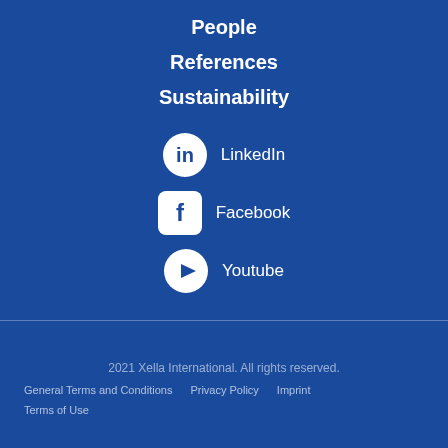People
References
Sustainability
LinkedIn
Facebook
Youtube
2021 Xella International. All rights reserved.
General Terms and Conditions   Privacy Policy   Imprint   Terms of Use